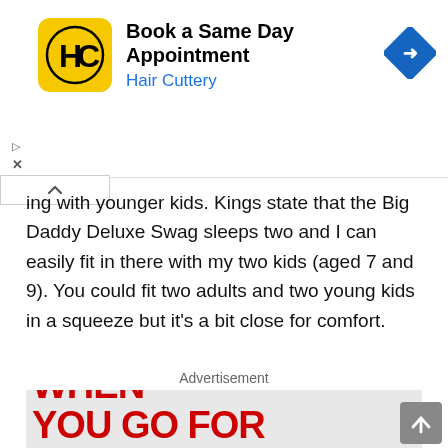[Figure (screenshot): Hair Cuttery advertisement banner with yellow square logo showing 'HC', text 'Book a Same Day Appointment' and 'Hair Cuttery' in blue, and a blue diamond navigation arrow icon on the right.]
ing with younger kids. Kings state that the Big Daddy Deluxe Swag sleeps two and I can easily fit in there with my two kids (aged 7 and 9). You could fit two adults and two young kids in a squeeze but it's a bit close for comfort.
Advertisement
[Figure (photo): Advertisement image with large red distressed bold text reading 'WHEN YOU GO FOR A QUICK...' on a light grey background.]